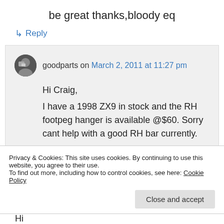be great thanks,bloody eq
↳ Reply
goodparts on March 2, 2011 at 11:27 pm
Hi Craig,
I have a 1998 ZX9 in stock and the RH footpeg hanger is available @$60. Sorry cant help with a good RH bar currently.
Cheers Simon Gooding
Privacy & Cookies: This site uses cookies. By continuing to use this website, you agree to their use.
To find out more, including how to control cookies, see here: Cookie Policy
Close and accept
Hi